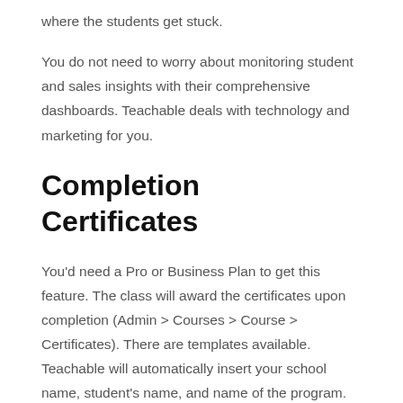where the students get stuck.
You do not need to worry about monitoring student and sales insights with their comprehensive dashboards. Teachable deals with technology and marketing for you.
Completion Certificates
You'd need a Pro or Business Plan to get this feature. The class will award the certificates upon completion (Admin > Courses > Course > Certificates). There are templates available. Teachable will automatically insert your school name, student's name, and name of the program. You may change elements of your certificate such as logo, colour scheme, and pre-set images. But, you may also create one yourself using the block editor (rich text and Liquid/HTML blocks).
Payment Options